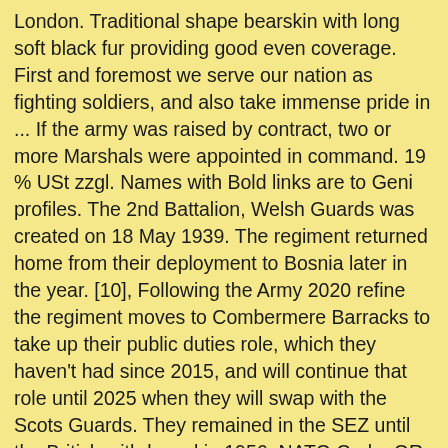London. Traditional shape bearskin with long soft black fur providing good even coverage. First and foremost we serve our nation as fighting soldiers, and also take immense pride in ... If the army was raised by contract, two or more Marshals were appointed in command. 19 % USt zzgl. Names with Bold links are to Geni profiles. The 2nd Battalion, Welsh Guards was created on 18 May 1939. The regiment returned home from their deployment to Bosnia later in the year. [10], Following the Army 2020 refine the regiment moves to Combermere Barracks to take up their public duties role, which they haven't had since 2015, and will continue that role until 2025 when they will swap with the Scots Guards. They remained in the SEZ until the British withdrawal in 1956. NATO Code: OR-9 OR-8 OR-7 OR-6 OR ... He emigrated to So... BMB Courtesy of http://www.britishmilitarybadges.co.uk/ - Daniel Baker. During their deployment HM the Queen Mother died. In Stock £ 5.99. They were to return home the following year. The training is two weeks more than the training for the Regular line infantry regiments of the British Army; the extra training, carried out throughout the course, is devoted to drill and ceremonies. Thank you for putting that photo right.These Five CSMs Dress Badges I think only date back to the 60s-70s but they have come a long way to be on this view. Welsh Guards organisation insignia badge for staff and band. They performed internal